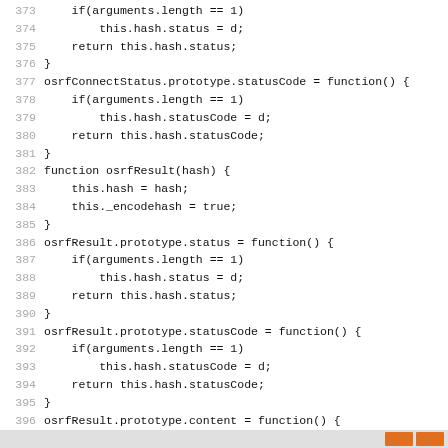[Figure (screenshot): Source code viewer showing JavaScript lines 373-403. Line numbers in gray on the left, code in monospace black on the right. Lines show osrfConnectStatus and osrfResult prototype method definitions for status, statusCode, and content.]